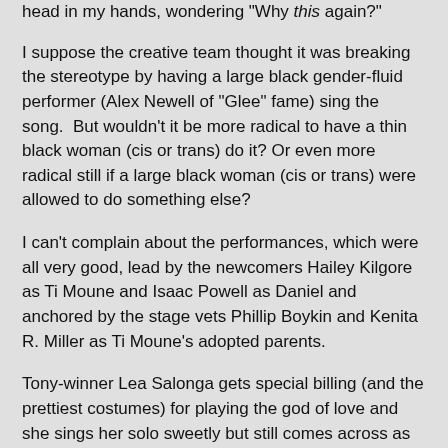head in my hands, wondering "Why this again?"
I suppose the creative team thought it was breaking the stereotype by having a large black gender-fluid performer (Alex Newell of "Glee" fame) sing the song.  But wouldn't it be more radical to have a thin black woman (cis or trans) do it? Or even more radical still if a large black woman (cis or trans) were allowed to do something else?
I can't complain about the performances, which were all very good, lead by the newcomers Hailey Kilgore as Ti Moune and Isaac Powell as Daniel and anchored by the stage vets Phillip Boykin and Kenita R. Miller as Ti Moune's adopted parents.
Tony-winner Lea Salonga gets special billing (and the prettiest costumes) for playing the god of love and she sings her solo sweetly but still comes across as the least memorable of the play's four deities (although to be fair it's hard to compete with Quentin Earl Darrington's commanding physique).